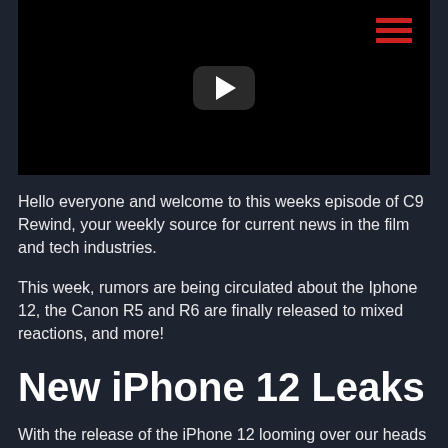[Figure (screenshot): Black video player with YouTube-style play button in center and red hamburger menu icon in top-right corner]
Hello everyone and welcome to this weeks episode of C9 Rewind, your weekly source for current news in the film and tech industries.
This week, rumors are being circulated about the Iphone 12, the Canon R5 and R6 are finally released to mixed reactions, and more!
New iPhone 12 Leaks
With the release of the iPhone 12 looming over our heads